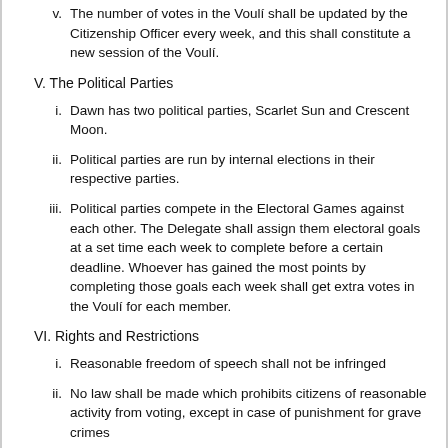v. The number of votes in the Vouli shall be updated by the Citizenship Officer every week, and this shall constitute a new session of the Vouli.
V. The Political Parties
i. Dawn has two political parties, Scarlet Sun and Crescent Moon.
ii. Political parties are run by internal elections in their respective parties.
iii. Political parties compete in the Electoral Games against each other. The Delegate shall assign them electoral goals at a set time each week to complete before a certain deadline. Whoever has gained the most points by completing those goals each week shall get extra votes in the Vouli for each member.
VI. Rights and Restrictions
i. Reasonable freedom of speech shall not be infringed
ii. No law shall be made which prohibits citizens of reasonable activity from voting, except in case of punishment for grave crimes